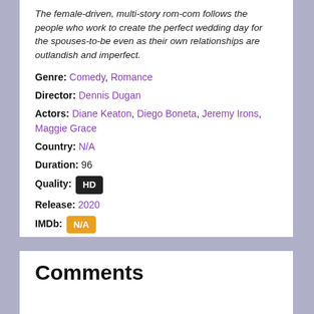The female-driven, multi-story rom-com follows the people who work to create the perfect wedding day for the spouses-to-be even as their own relationships are outlandish and imperfect.
Genre: Comedy, Romance
Director: Dennis Dugan
Actors: Diane Keaton, Diego Boneta, Jeremy Irons, Maggie Grace
Country: N/A
Duration: 96
Quality: HD
Release: 2020
IMDb: N/A
Keywords: #Love #Weddings And Other Disasters 123movies #Weddings And Other Disasters Fmovies #Weddings And Other Disasters Yesmovies
Comments